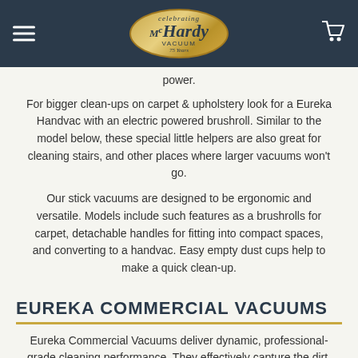McHardy Vacuum
power.
For bigger clean-ups on carpet & upholstery look for a Eureka Handvac with an electric powered brushroll. Similar to the model below, these special little helpers are also great for cleaning stairs, and other places where larger vacuums won't go.
Our stick vacuums are designed to be ergonomic and versatile. Models include such features as a brushrolls for carpet, detachable handles for fitting into compact spaces, and converting to a handvac. Easy empty dust cups help to make a quick clean-up.
EUREKA COMMERCIAL VACUUMS
Eureka Commercial Vacuums deliver dynamic, professional-grade cleaning performance. They effectively capture the dirt,